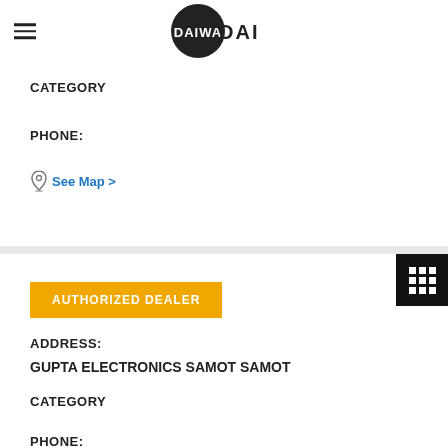DAIWA
CATEGORY
PHONE:
See Map >
AUTHORIZED DEALER
ADDRESS:
GUPTA ELECTRONICS SAMOT SAMOT
CATEGORY
PHONE:
See Map >